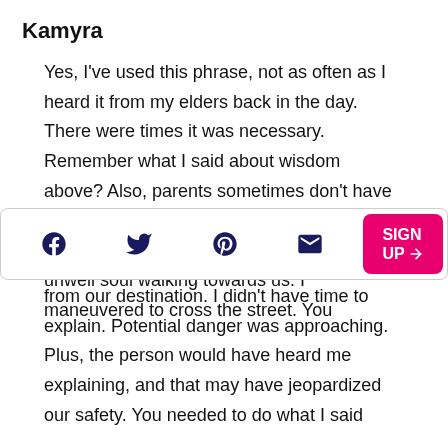Kamyra
Yes, I've used this phrase, not as often as I heard it from my elders back in the day. There were times it was necessary. Remember what I said about wisdom above? Also, parents sometimes don't have the luxury to explain. I remember walking down the street with you and seeing an unwell soul walking towards us. I maneuvered to cross the street. You
[Figure (infographic): Social media sharing bar with Facebook, Twitter, Pinterest, and email icons, plus a pink SIGN UP button with arrow icon]
from our destination. I didn't have time to explain. Potential danger was approaching. Plus, the person would have heard me explaining, and that may have jeopardized our safety. You needed to do what I said